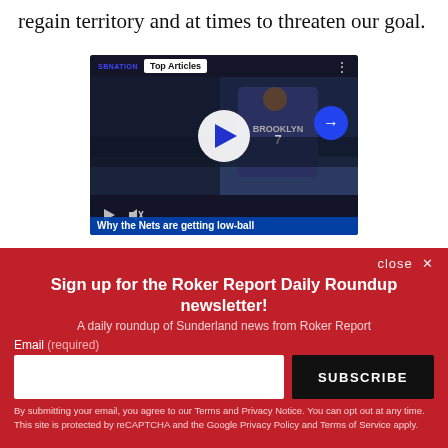regain territory and at times to threaten our goal.
[Figure (screenshot): Video player widget showing a Brooklyn Nets basketball player wearing jersey number 7, with a 'Top Articles' badge, play button, and video title 'Why the Nets are getting low-ball']
close ✕
Sign up for the Roker Report Daily Roundup newsletter!
A daily roundup of Sunderland news from Roker Report
Email (required)
SUBSCRIBE
By submitting your email, you agree to our Terms and Privacy Notice. You can opt out at any time. This site is protected by reCAPTCHA and the Google Privacy Policy and Terms of Service apply.